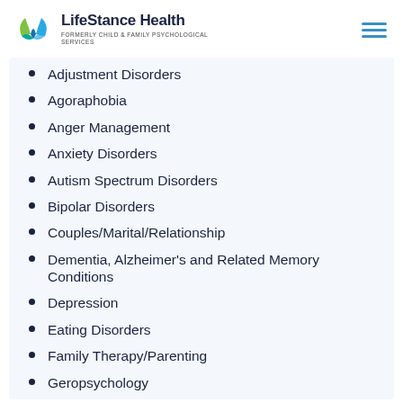LifeStance Health — FORMERLY CHILD & FAMILY PSYCHOLOGICAL SERVICES
Adjustment Disorders
Agoraphobia
Anger Management
Anxiety Disorders
Autism Spectrum Disorders
Bipolar Disorders
Couples/Marital/Relationship
Dementia, Alzheimer's and Related Memory Conditions
Depression
Eating Disorders
Family Therapy/Parenting
Geropsychology